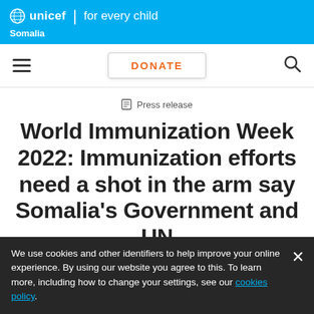unicef | for every child
Somalia
[Figure (screenshot): Navigation bar with hamburger menu, DONATE button, and search icon]
Press release
World Immunization Week 2022: Immunization efforts need a shot in the arm say Somalia's Government and UN
Joint press release by the Department of Health
We use cookies and other identifiers to help improve your online experience. By using our website you agree to this. To learn more, including how to change your settings, see our cookies policy.